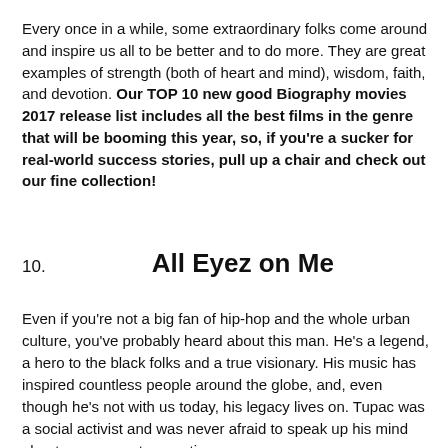Every once in a while, some extraordinary folks come around and inspire us all to be better and to do more. They are great examples of strength (both of heart and mind), wisdom, faith, and devotion. Our TOP 10 new good Biography movies 2017 release list includes all the best films in the genre that will be booming this year, so, if you're a sucker for real-world success stories, pull up a chair and check out our fine collection!
10.    All Eyez on Me
Even if you're not a big fan of hip-hop and the whole urban culture, you've probably heard about this man. He's a legend, a hero to the black folks and a true visionary. His music has inspired countless people around the globe, and, even though he's not with us today, his legacy lives on. Tupac was a social activist and was never afraid to speak up his mind about government corruption,